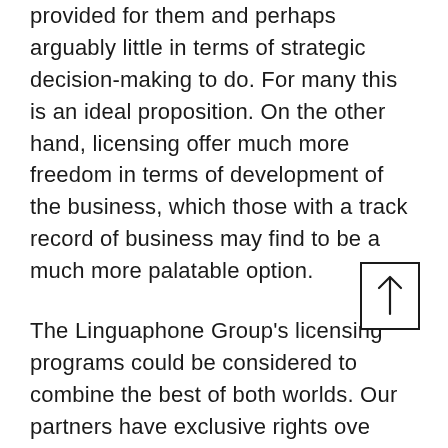provided for them and perhaps arguably little in terms of strategic decision-making to do. For many this is an ideal proposition. On the other hand, licensing offer much more freedom in terms of development of the business, which those with a track record of business may find to be a much more palatable option.
The Linguaphone Group's licensing programs could be considered to combine the best of both worlds. Our partners have exclusive rights over area with flexible business model and the option to sub-license across the territory. We offer full training on our first-class English language systems. We